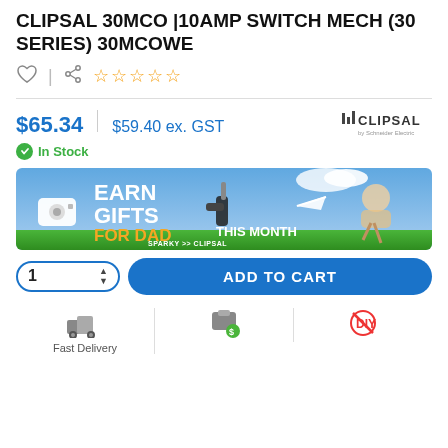CLIPSAL 30MCO |10AMP SWITCH MECH (30 SERIES) 30MCOWE
[Figure (infographic): Heart (wishlist) icon, share icon, and 5-star rating (empty stars in orange outline)]
$65.34  |  $59.40 ex. GST
[Figure (logo): Clipsal by Schneider Electric logo]
In Stock
[Figure (infographic): Promotional banner: EARN GIFTS FOR DAD THIS MONTH — Sparky Direct and Clipsal logos, with images of a security camera, power tool, and a person flying on a rocket]
[Figure (infographic): Quantity selector showing 1 with up/down arrows and ADD TO CART button]
[Figure (infographic): Bottom row icons: Fast Delivery, package with dollar, DIY not recommended]